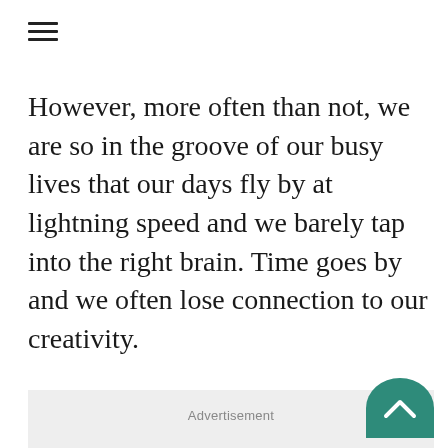[Figure (other): Hamburger menu icon (three horizontal lines)]
However, more often than not, we are so in the groove of our busy lives that our days fly by at lightning speed and we barely tap into the right brain. Time goes by and we often lose connection to our creativity.
[Figure (other): Advertisement placeholder box with grey background and 'Advertisement' label]
[Figure (other): Scroll-to-top button, teal circular button with upward chevron, partially visible at bottom right]